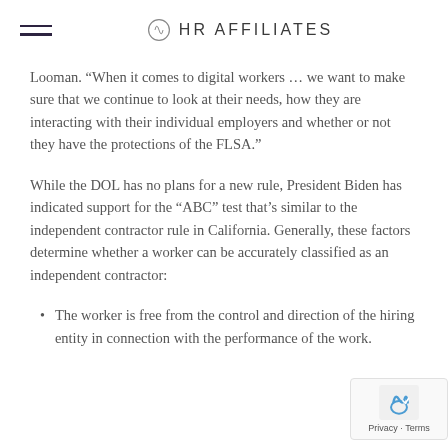HR AFFILIATES
Looman. “When it comes to digital workers … we want to make sure that we continue to look at their needs, how they are interacting with their individual employers and whether or not they have the protections of the FLSA.”
While the DOL has no plans for a new rule, President Biden has indicated support for the “ABC” test that’s similar to the independent contractor rule in California. Generally, these factors determine whether a worker can be accurately classified as an independent contractor:
The worker is free from the control and direction of the hiring entity in connection with the performance of the work.